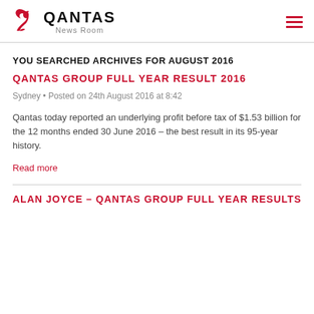[Figure (logo): Qantas News Room logo with red kangaroo icon and QANTAS text in bold, with 'News Room' subtitle in grey]
YOU SEARCHED ARCHIVES FOR AUGUST 2016
QANTAS GROUP FULL YEAR RESULT 2016
Sydney • Posted on 24th August 2016 at 8:42
Qantas today reported an underlying profit before tax of $1.53 billion for the 12 months ended 30 June 2016 – the best result in its 95-year history.
Read more
ALAN JOYCE – QANTAS GROUP FULL YEAR RESULTS